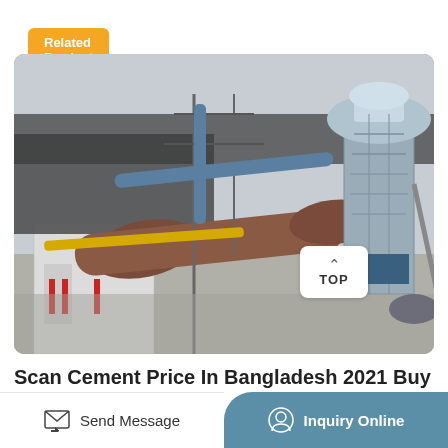Related Product
[Figure (photo): Industrial cement plant facility showing large rotary kilns, pipes, steel framework, a cylindrical tower structure, and a white building with red doors in the foreground.]
Scan Cement Price In Bangladesh 2021 Buy Scan Cement At
Send Message
Inquiry Online